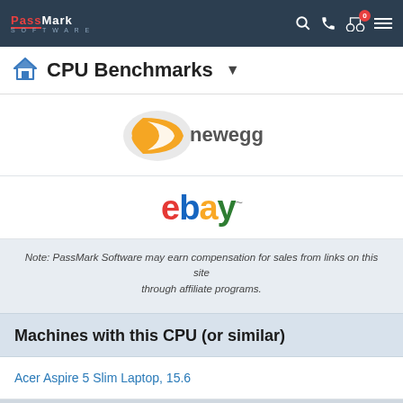PassMark Software
CPU Benchmarks
[Figure (logo): Newegg logo - orange and grey egg shape with 'newegg' text in grey]
[Figure (logo): eBay logo - colored letters e(red) b(blue) a(yellow) y(green) with trademark symbol]
Note: PassMark Software may earn compensation for sales from links on this site through affiliate programs.
Machines with this CPU (or similar)
Acer Aspire 5 Slim Laptop, 15.6